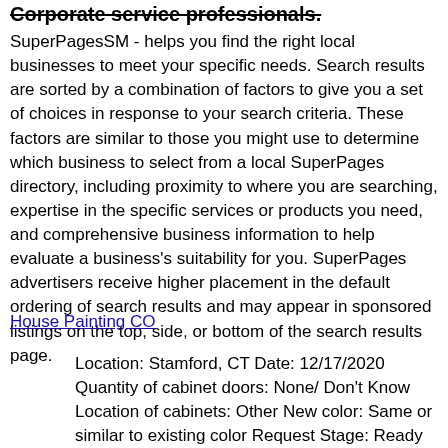Corporate service professionals.
SuperPagesSM - helps you find the right local businesses to meet your specific needs. Search results are sorted by a combination of factors to give you a set of choices in response to your search criteria. These factors are similar to those you might use to determine which business to select from a local SuperPages directory, including proximity to where you are searching, expertise in the specific services or products you need, and comprehensive business information to help evaluate a business's suitability for you. SuperPages advertisers receive higher placement in the default ordering of search results and may appear in sponsored listings on the top, side, or bottom of the search results page.
House Painting CO
Location: Stamford, CT Date: 12/17/2020 Quantity of cabinet doors: None/ Don't Know Location of cabinets: Other New color: Same or similar to existing color Request Stage: Ready to Hire Historical Work: No Desired Completion Date: Timing is flexible What kind of location is this?: Home/Residence Property Owner: Yes Comment: I would like to get an estimate for Closet-taping and painting 6x8 ft taping and painting Home Painters